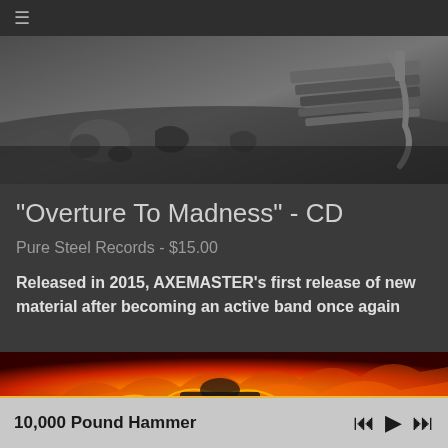≡
[Figure (photo): Black and white photo of album-related objects on a surface, possibly a table with scattered items]
"Overture To Madness" - CD
Pure Steel Records - $15.00
Released in 2015, AXEMASTER's first release of new material after becoming an active band once again
[Figure (photo): Colorful fiery/flame image in orange, red and yellow tones]
10,000 Pound Hammer